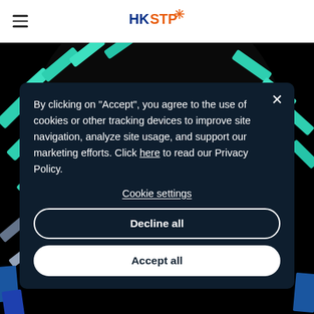[Figure (logo): HKSTP logo in navigation bar]
[Figure (illustration): Dark background with teal and grey geometric/abstract shapes forming a circular pattern]
By clicking on "Accept", you agree to the use of cookies or other tracking devices to improve site navigation, analyze site usage, and support our marketing efforts. Click here to read our Privacy Policy.
Cookie settings
Decline all
Accept all